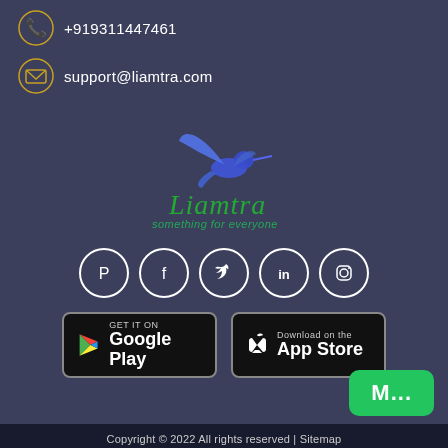+919311447461
support@liamtra.com
[Figure (logo): Liamtra logo with hummingbird and tagline 'something for everyone']
[Figure (infographic): Social media icons: Pinterest, Facebook, Twitter, LinkedIn, Instagram]
[Figure (infographic): Google Play and App Store download badges]
M...
Copyright © 2022 All rights reserved | Sitemap